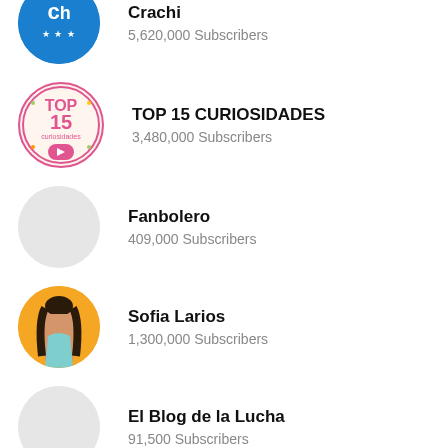[Figure (logo): Blue circle avatar with CH logo in white]
Crachi
5,620,000 Subscribers
[Figure (logo): TOP 15 Curiosidades circular logo with pink text and play button]
TOP 15 CURIOSIDADES
3,480,000 Subscribers
[Figure (logo): Empty light gray circle avatar for Fanbolero]
Fanbolero
409,000 Subscribers
[Figure (photo): Sofia Larios avatar - woman posing on orange background]
Sofia Larios
1,300,000 Subscribers
[Figure (logo): Empty light gray circle avatar for El Blog de la Lucha]
El Blog de la Lucha
91,500 Subscribers